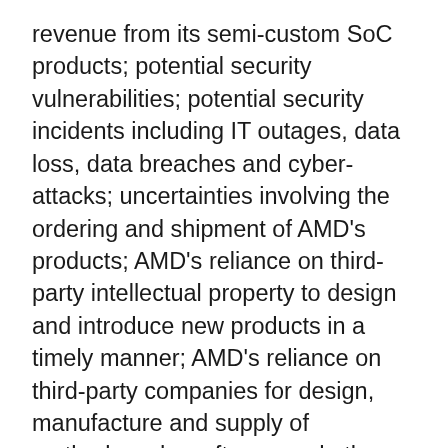revenue from its semi-custom SoC products; potential security vulnerabilities; potential security incidents including IT outages, data loss, data breaches and cyber-attacks; uncertainties involving the ordering and shipment of AMD's products; AMD's reliance on third-party intellectual property to design and introduce new products in a timely manner; AMD's reliance on third-party companies for design, manufacture and supply of motherboards, software and other computer platform components; AMD's reliance on Microsoft and other software vendors' support to design and develop software to run on AMD's products; AMD's reliance on third-party distributors and add-in-board partners; impact